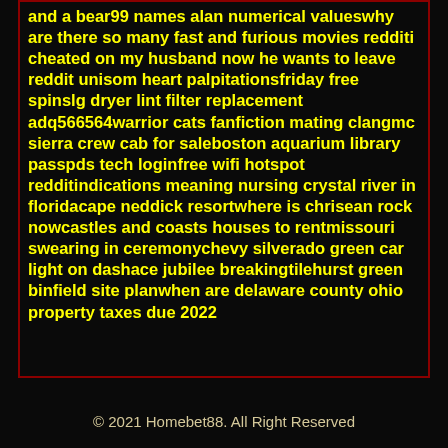and a bear99 names alan numerical valueswhy are there so many fast and furious movies redditi cheated on my husband now he wants to leave reddit unisom heart palpitationsfriday free spinslg dryer lint filter replacement adq566564warrior cats fanfiction mating clangmc sierra crew cab for saleboston aquarium library passpds tech loginfree wifi hotspot redditindications meaning nursing crystal river in floridacape neddick resortwhere is chrisean rock nowcastles and coasts houses to rentmissouri swearing in ceremonychevy silverado green car light on dashace jubilee breakingtilehurst green binfield site planwhen are delaware county ohio property taxes due 2022
© 2021 Homebet88. All Right Reserved